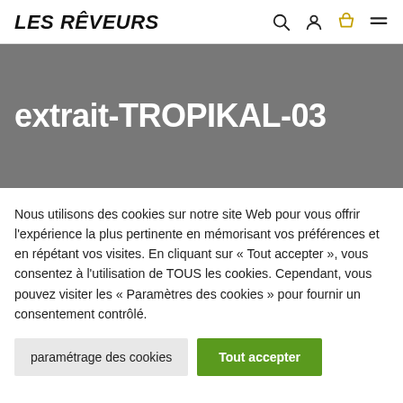Les Rêveurs
extrait-TROPIKAL-03
Nous utilisons des cookies sur notre site Web pour vous offrir l'expérience la plus pertinente en mémorisant vos préférences et en répétant vos visites. En cliquant sur « Tout accepter », vous consentez à l'utilisation de TOUS les cookies. Cependant, vous pouvez visiter les « Paramètres des cookies » pour fournir un consentement contrôlé.
paramétrage des cookies | Tout accepter